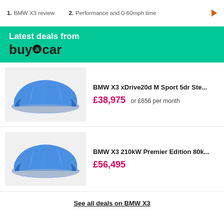1. BMW X3 review   2. Performance and 0-60mph time
[Figure (logo): Latest deals from buyacar banner with green background]
[Figure (photo): BMW X3 covered with blue sheet]
BMW X3 xDrive20d M Sport 5dr Ste...
£38,975 or £656 per month
[Figure (photo): BMW X3 covered with blue sheet]
BMW X3 210kW Premier Edition 80k...
£56,495
See all deals on BMW X3